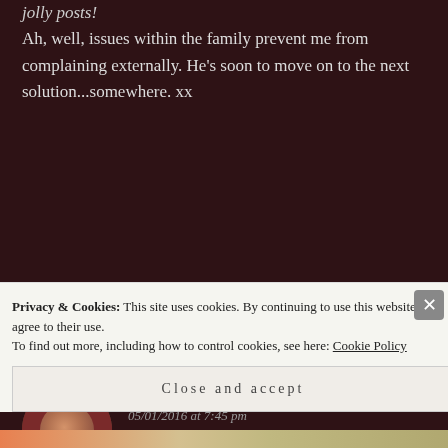jolly posts!
Ah, well, issues within the family prevent me from complaining externally. He's soon to move on to the next solution...somewhere. xx
★ Like
THE ANXIOUS DRAGON says: Reply
05/01/2016 at 7:45 pm
I feel for you, and for your grandpa
Privacy & Cookies: This site uses cookies. By continuing to use this website, you agree to their use.
To find out more, including how to control cookies, see here: Cookie Policy
Close and accept